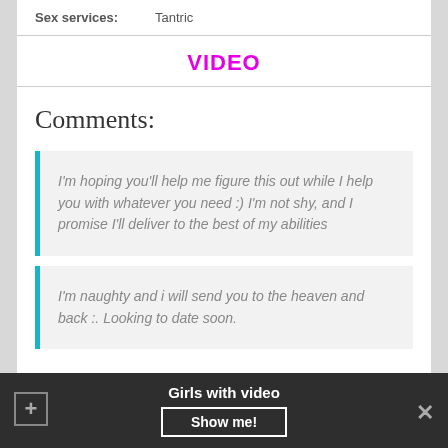| Sex services: | Tantric |
| --- | --- |
VIDEO
Comments:
I'm hoping you'll help me figure this out while I help you with whatever you need :) I'm not shy, and I promise I'll deliver to the best of my abilities
I'm naughty and i will send you to the heaven and back :. Looking to date soon.
Girls with video   Show me!